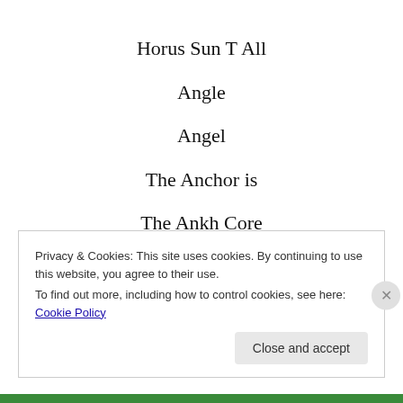Horus Sun T All
Angle
Angel
The Anchor is
The Ankh Core
The Encore
Privacy & Cookies: This site uses cookies. By continuing to use this website, you agree to their use.
To find out more, including how to control cookies, see here: Cookie Policy